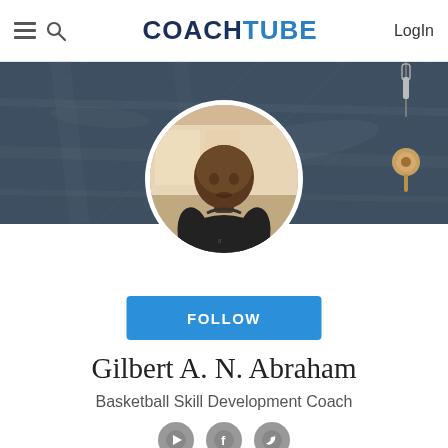COACHTUBE — Login
[Figure (photo): Hero banner showing a dark chalkboard background with a whistle hanging on the right side]
[Figure (photo): Circular profile photo of Gilbert A. N. Abraham, a basketball coach wearing a black sleeveless shirt, looking to the side]
FOLLOW
Gilbert A. N. Abraham
Basketball Skill Development Coach
[Figure (other): Social media icons row: YouTube, Facebook, Twitter]